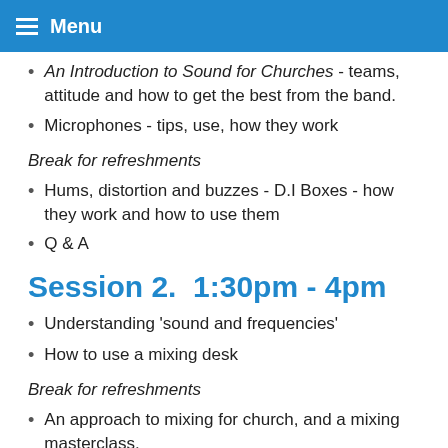Menu
An Introduction to Sound for Churches - teams, attitude and how to get the best from the band.
Microphones - tips, use, how they work
Break for refreshments
Hums, distortion and buzzes - D.I Boxes - how they work and how to use them
Q & A
Session 2.  1:30pm - 4pm
Understanding 'sound and frequencies'
How to use a mixing desk
Break for refreshments
An approach to mixing for church, and a mixing masterclass.